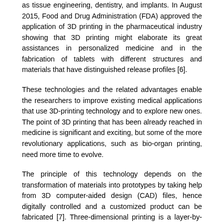as tissue engineering, dentistry, and implants. In August 2015, Food and Drug Administration (FDA) approved the application of 3D printing in the pharmaceutical industry showing that 3D printing might elaborate its great assistances in personalized medicine and in the fabrication of tablets with different structures and materials that have distinguished release profiles [6].
These technologies and the related advantages enable the researchers to improve existing medical applications that use 3D-printing technology and to explore new ones. The point of 3D printing that has been already reached in medicine is significant and exciting, but some of the more revolutionary applications, such as bio-organ printing, need more time to evolve.
The principle of this technology depends on the transformation of materials into prototypes by taking help from 3D computer-aided design (CAD) files, hence digitally controlled and a customized product can be fabricated [7]. Three-dimensional printing is a layer-by-layer fabrication of 3D objects from digital designs; it is a relatively novel technique and was first described in the early 1990s for rapid prototyping, which builds solid objects by deposition of numerous layers in series. This technology developed more than 30 y ago for the